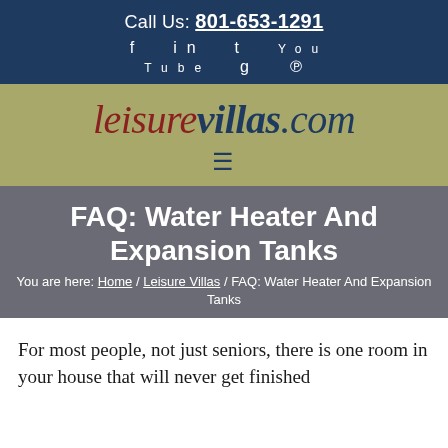Call Us: 801-653-1291
[Figure (logo): leisurevillas.com logo with hamburger menu icon below on olive/khaki background]
FAQ: Water Heater And Expansion Tanks
You are here: Home / Leisure Villas / FAQ: Water Heater And Expansion Tanks
For most people, not just seniors, there is one room in your house that will never get finished